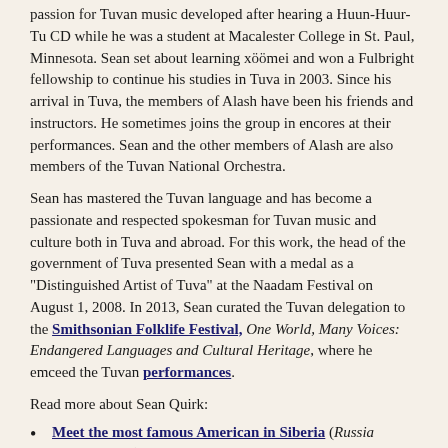passion for Tuvan music developed after hearing a Huun-Huur-Tu CD while he was a student at Macalester College in St. Paul, Minnesota. Sean set about learning xöömei and won a Fulbright fellowship to continue his studies in Tuva in 2003. Since his arrival in Tuva, the members of Alash have been his friends and instructors. He sometimes joins the group in encores at their performances. Sean and the other members of Alash are also members of the Tuvan National Orchestra.
Sean has mastered the Tuvan language and has become a passionate and respected spokesman for Tuvan music and culture both in Tuva and abroad. For this work, the head of the government of Tuva presented Sean with a medal as a "Distinguished Artist of Tuva" at the Naadam Festival on August 1, 2008. In 2013, Sean curated the Tuvan delegation to the Smithsonian Folklife Festival, One World, Many Voices: Endangered Languages and Cultural Heritage, where he emceed the Tuvan performances.
Read more about Sean Quirk:
Meet the most famous American in Siberia (Russia Beyond, 2020)
Sean from Tuva: throat singing without accent (Russkiy Mir, 2019)